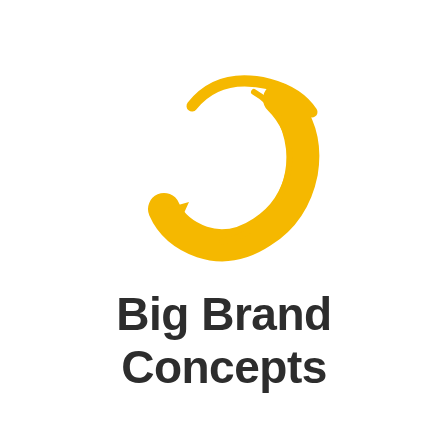[Figure (logo): Golden/yellow swoosh arrow logo forming a circular shape with an arrow pointing downward-right, resembling a stylized 'C' or refresh symbol]
Big Brand Concepts